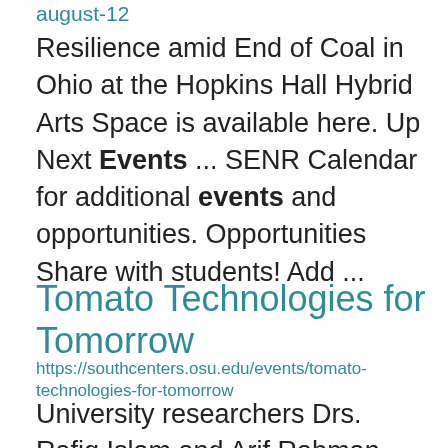august-12
Resilience amid End of Coal in Ohio at the Hopkins Hall Hybrid Arts Space is available here. Up Next Events ... SENR Calendar for additional events and opportunities. Opportunities Share with students! Add ...
Tomato Technologies for Tomorrow
https://southcenters.osu.edu/events/tomato-technologies-for-tomorrow
University researchers Drs. Rafiq Islam and Arif Rahman and Thom Harker. Highlights/focus areas of this event ... trials